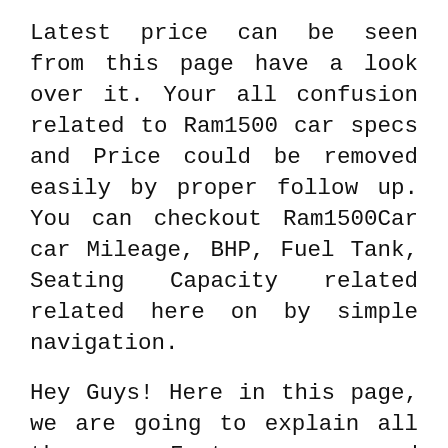Latest price can be seen from this page have a look over it. Your all confusion related to Ram1500 car specs and Price could be removed easily by proper follow up. You can checkout Ram1500Car car Mileage, BHP, Fuel Tank, Seating Capacity related related here on by simple navigation.
Hey Guys! Here in this page, we are going to explain all the Features and specifications of Ram 1500 2020. If Ram1500 is your type of car or you want to know about this car then be with us and check all details of this car. Here is the best time to know plus and minus Points of this Ram 1500 2020. Check out complete specifications of Ram1500 from here now.
On 2020, amazing Car called Ram 1500 2020